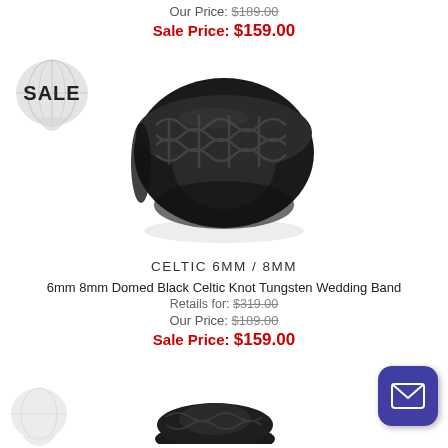Our Price: $189.00
Sale Price: $159.00
[Figure (photo): Black domed Celtic knot tungsten wedding band ring on white background]
[Figure (illustration): Globe/map shaped SALE badge in light gray]
CELTIC 6MM / 8MM
6mm 8mm Domed Black Celtic Knot Tungsten Wedding Band
Retails for: $319.00
Our Price: $189.00
Sale Price: $159.00
[Figure (illustration): Globe/map shaped SALE badge in light gray (partial, bottom)]
[Figure (photo): Partial black ring visible at bottom of page]
[Figure (illustration): Dark blue rounded square email/envelope contact button]